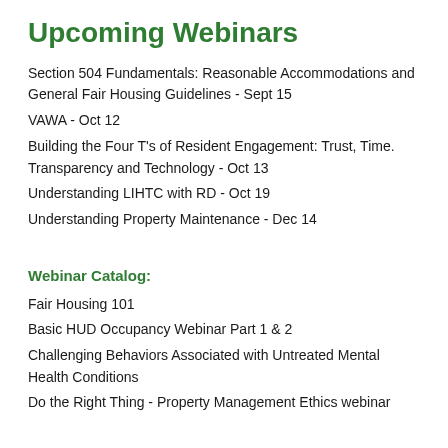Upcoming Webinars
Section 504 Fundamentals: Reasonable Accommodations and General Fair Housing Guidelines - Sept 15
VAWA - Oct 12
Building the Four T's of Resident Engagement: Trust, Time. Transparency and Technology - Oct 13
Understanding LIHTC with RD - Oct 19
Understanding Property Maintenance - Dec 14
Webinar Catalog:
Fair Housing 101
Basic HUD Occupancy Webinar Part 1 & 2
Challenging Behaviors Associated with Untreated Mental Health Conditions
Do the Right Thing - Property Management Ethics webinar